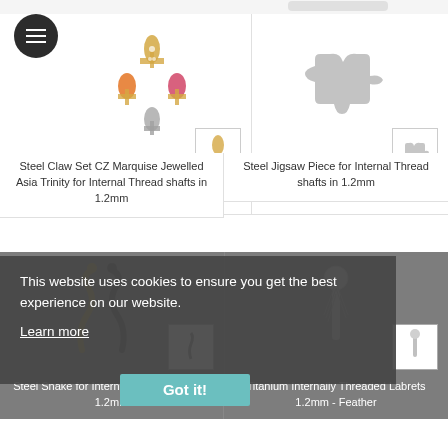[Figure (photo): Steel Claw Set CZ Marquise Jewelled Asia Trinity jewelry pieces in gold and silver with colored gemstones, plus a thumbnail inset]
Steel Claw Set CZ Marquise Jewelled Asia Trinity for Internal Thread shafts in 1.2mm
[Figure (photo): Steel Jigsaw Piece for Internal Thread shafts, silver puzzle piece shape, with thumbnail inset]
Steel Jigsaw Piece for Internal Thread shafts in 1.2mm
[Figure (photo): Steel Snake jewelry piece for Internal Thread shafts, gold and dark colored snake shapes, with thumbnail inset]
Steel Snake for Internal Thread shafts in 1.2mm
[Figure (photo): Titanium Internally Threaded Labrets 1.2mm Feather piece with thumbnail inset]
Titanium Internally Threaded Labrets 1.2mm - Feather
This website uses cookies to ensure you get the best experience on our website. Learn more
Got it!